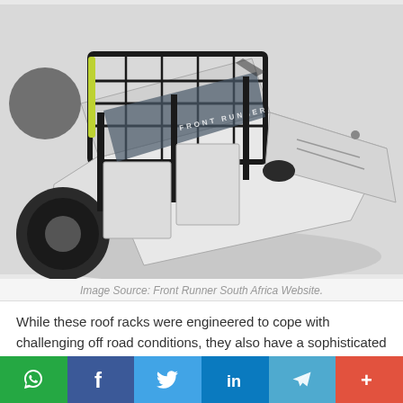[Figure (photo): Overhead/angled view of a white Jeep Wrangler with a Front Runner Slimeline II roof rack, photographed from above showing the rack, windshield with FRONT RUNNER branding, and front hood area.]
Image Source: Front Runner South Africa Website.
While these roof racks were engineered to cope with challenging off road conditions, they also have a sophisticated appearance. Another advantage of buying a Slimeline II Front Runner roof rack is that they offer excellent flexibility. This means that the roof racks can be customized to meet your specific requirements.
Additional slats can be added to form a platform for sitting or